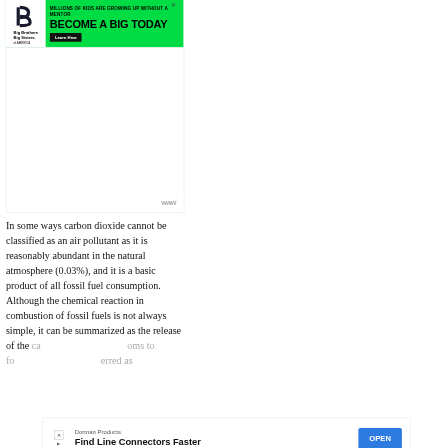[Figure (other): Big Brothers Big Sisters of America advertisement banner on green background. Text reads: 'MILLIONS OF KIDS ARE GROWING UP WITHOUT A MENTOR' and 'BECOME A BIG TODAY' with a 'Learn How' button. The logo shows a stylized 'b' and 'B' monogram.]
[Figure (other): Large white rectangular advertisement placeholder space with a 'www°' watermark in the bottom right corner.]
In some ways carbon dioxide cannot be classified as an air pollutant as it is reasonably abundant in the natural atmosphere (0.03%), and it is a basic product of all fossil fuel consumption. Although the chemical reaction in combustion of fossil fuels is not always simple, it can be summarized as the release of the ca...oms to fo...erred as.
[Figure (other): Dorman Products advertisement strip at the bottom partially overlapping the text. Shows 'Dorman Products', 'Find Line Connectors Faster', and an 'OPEN' button, with an X/AdChoices icon and 'www°' mark.]